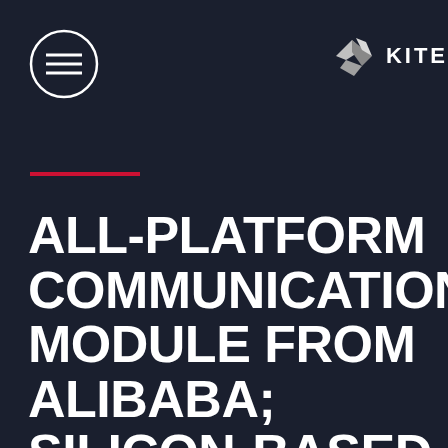[Figure (logo): Circle with horizontal lines (hamburger menu icon) in white outline on dark background]
[Figure (logo): Kite logo with geometric arrow/chevron shape in white/grey and text KITE to the right]
ALL-PLATFORM COMMUNICATION MODULE FROM ALIBABA; SILICON-BASED OLED PROJECT'S INVESTMENT